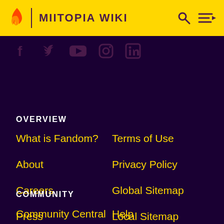MIITOPIA WIKI
[Figure (other): Social media icons row: Facebook, Twitter, YouTube, Instagram, LinkedIn]
OVERVIEW
What is Fandom?
Terms of Use
About
Privacy Policy
Careers
Global Sitemap
Press
Local Sitemap
Contact
COMMUNITY
Community Central
Help
Support